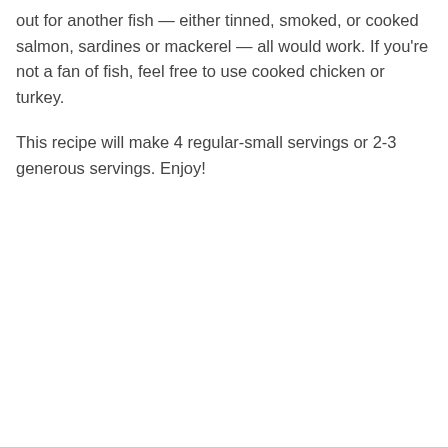out for another fish — either tinned, smoked, or cooked salmon, sardines or mackerel — all would work. If you're not a fan of fish, feel free to use cooked chicken or turkey.
This recipe will make 4 regular-small servings or 2-3 generous servings. Enjoy!